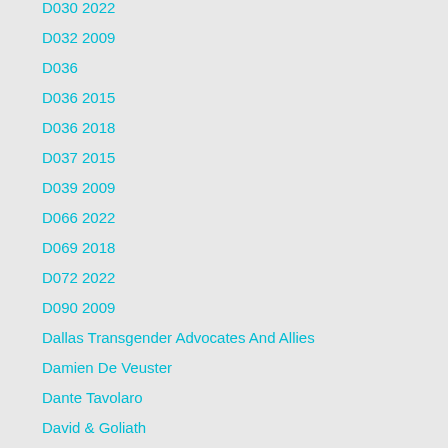D030 2022
D032 2009
D036
D036 2015
D036 2018
D037 2015
D039 2009
D066 2022
D069 2018
D072 2022
D090 2009
Dallas Transgender Advocates And Allies
Damien De Veuster
Dante Tavolaro
David & Goliath
Davis Mac-Iyalla
Debra Forte
Deployment
Dialogue